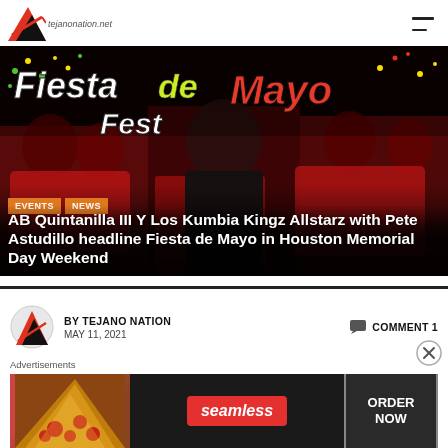tejanonation.net
[Figure (photo): Fiesta de Mayo Fest promotional banner with AB Quintanilla III Y Los Kumbia Kingz Allstarz and other performers dressed in red, black background with colorful Fiesta de Mayo Fest text]
EVENTS | NEWS
AB Quintanilla III Y Los Kumbia Kingz Allstarz with Pete Astudillo headline Fiesta de Mayo in Houston Memorial Day Weekend
BY TEJANO NATION  COMMENT 1
MAY 11, 2021
Advertisements
[Figure (photo): Seamless food delivery advertisement banner showing pizza and ORDER NOW button]